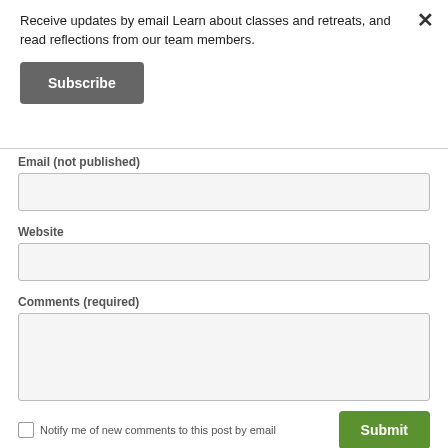Receive updates by email Learn about classes and retreats, and read reflections from our team members.
Subscribe
Email (not published)
Website
Comments (required)
Notify me of new comments to this post by email
Submit